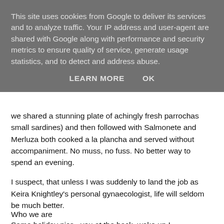This site uses cookies from Google to deliver its services and to analyze traffic. Your IP address and user-agent are shared with Google along with performance and security metrics to ensure quality of service, generate usage statistics, and to detect and address abuse.
LEARN MORE   OK
we shared a stunning plate of achingly fresh parrochas small sardines) and then followed with Salmonete and Merluza both cooked a la plancha and served without accompaniment. No muss, no fuss. No better way to spend an evening.
I suspect, that unless I was suddenly to land the job as Keira Knightley's personal gynaecologist, life will seldom be much better.
Some holiday pics...you at the back, wake up !
Who we are